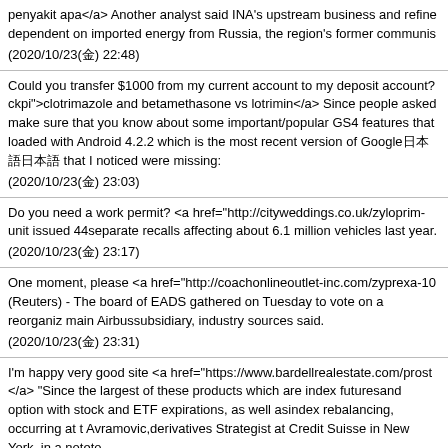penyakit apa</a> Another analyst said INA's upstream business and refine dependent on imported energy from Russia, the region's former communis (2020/10/23(金) 22:48)
Could you transfer $1000 from my current account to my deposit account? ckpi">clotrimazole and betamethasone vs lotrimin</a> Since people asked make sure that you know about some important/popular GS4 features that loaded with Android 4.2.2 which is the most recent version of Google日本語 that I noticed were missing: (2020/10/23(金) 23:03)
Do you need a work permit? <a href="http://cityweddings.co.uk/zyloprim- unit issued 44separate recalls affecting about 6.1 million vehicles last year. (2020/10/23(金) 23:17)
One moment, please <a href="http://coachonlineoutlet-inc.com/zyprexa-10 (Reuters) - The board of EADS gathered on Tuesday to vote on a reorganiz main Airbussubsidiary, industry sources said. (2020/10/23(金) 23:31)
I'm happy very good site <a href="https://www.bardellrealestate.com/prost </a> "Since the largest of these products which are index futuresand option with stock and ETF expirations, as well asindex rebalancing, occurring at t Avramovic,derivatives Strategist at Credit Suisse in New York, in a noteto (2020/10/24(金) 00:12)
I saw your advert in the paper <a href="http://tuandungsilk.com/twinlab-he </a> Prosecutors had argued that Mr Zimmerman, 29, opened fired on 26 M the and his girlfriend had previously dated. I must hint in the …